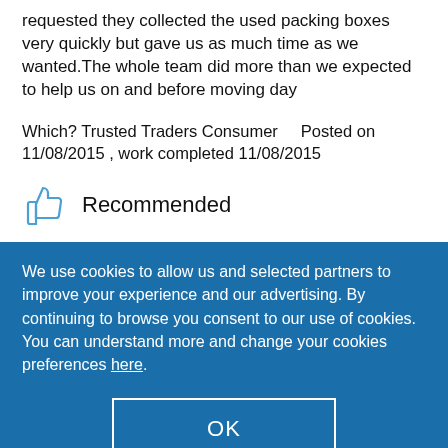requested they collected the used packing boxes very quickly but gave us as much time as we wanted.The whole team did more than we expected to help us on and before moving day
Which? Trusted Traders Consumer    Posted on 11/08/2015 , work completed 11/08/2015
Recommended
We use cookies to allow us and selected partners to improve your experience and our advertising. By continuing to browse you consent to our use of cookies. You can understand more and change your cookies preferences here.
OK